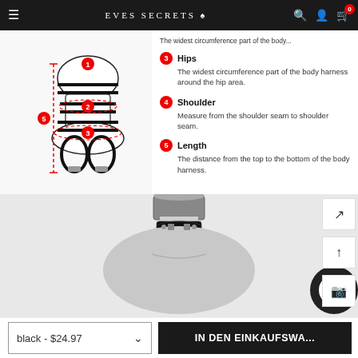EVES SECRETS
[Figure (photo): Size guide diagram of a body harness mannequin with numbered measurement points (1-5) indicated by red circles and dashed lines]
The widest circumference part of the body...
3 Hips - The widest circumference part of the body harness around the hip area.
4 Shoulder - Measure from the shoulder seam to shoulder seam.
5 Length - The distance from the top to the bottom of the body harness.
[Figure (photo): Mannequin torso wearing a black leather choker collar with silver ring and dangling chain, product photo on white/gray background]
black - $24.97
IN DEN EINKAUFSWA...